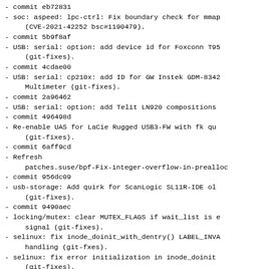- commit eb72831
- soc: aspeed: lpc-ctrl: Fix boundary check for mmap
  (CVE-2021-42252 bsc#1190479).
- commit 5b9f8af
- USB: serial: option: add device id for Foxconn T95
  (git-fixes).
- commit 4cdae00
- USB: serial: cp210x: add ID for GW Instek GDM-8342
  Multimeter (git-fixes).
- commit 2a96462
- USB: serial: option: add Telit LN920 compositions
- commit 496498d
- Re-enable UAS for LaCie Rugged USB3-FW with fk qu
  (git-fixes).
- commit 6aff9cd
- Refresh
  patches.suse/bpf-Fix-integer-overflow-in-prealloc
- commit 956dc09
- usb-storage: Add quirk for ScanLogic SL11R-IDE ol
  (git-fixes).
- commit 9490aec
- locking/mutex: clear MUTEX_FLAGS if wait_list is 
  signal (git-fixes).
- selinux: fix inode_doinit_with_dentry() LABEL_INVA
  handling (git-fxes).
- selinux: fix error initialization in inode_doinit
  (git-fixes).
- bitmap: remove unused function declaration (git-f
- kernel/locking/mutex.c: remove caller signal_pend
  predictions (bsc#1050549).
- locking/mutex: ...